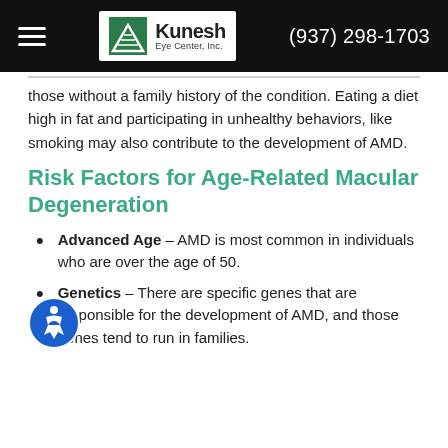Kunesh Eye Center, Inc. (937) 298-1703
those without a family history of the condition. Eating a diet high in fat and participating in unhealthy behaviors, like smoking may also contribute to the development of AMD.
Risk Factors for Age-Related Macular Degeneration
Advanced Age – AMD is most common in individuals who are over the age of 50.
Genetics – There are specific genes that are responsible for the development of AMD, and those genes tend to run in families.